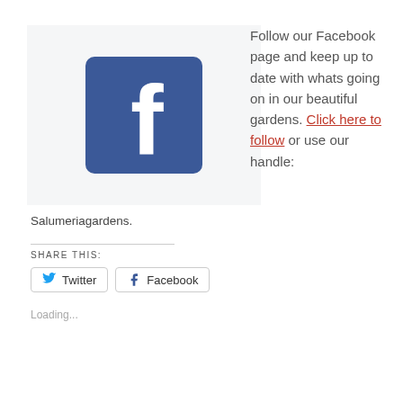[Figure (logo): Facebook logo icon — white 'f' on a blue square background, inside a light grey box]
Follow our Facebook page and keep up to date with whats going on in our beautiful gardens. Click here to follow or use our handle:
Salumeriagardens.
SHARE THIS:
Twitter
Facebook
Loading...